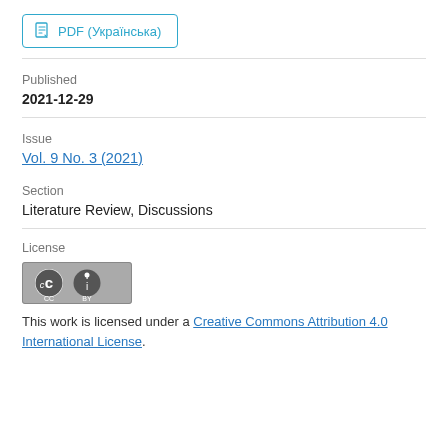PDF (Українська)
Published
2021-12-29
Issue
Vol. 9 No. 3 (2021)
Section
Literature Review, Discussions
License
[Figure (logo): Creative Commons BY license badge]
This work is licensed under a Creative Commons Attribution 4.0 International License.